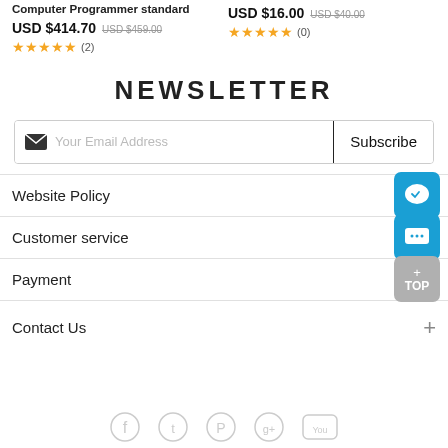Computer Programmer standard
USD $414.70  USD $459.00  ★★★★★ (2)
USD $16.00  USD $40.00  ★★★★★ (0)
NEWSLETTER
[Figure (screenshot): Email subscription form with 'Your Email Address' placeholder and 'Subscribe' button]
Website Policy
Customer service
Payment
Contact Us
[Figure (illustration): Social media icons row at bottom (Facebook, Twitter, Pinterest, Google+, YouTube)]